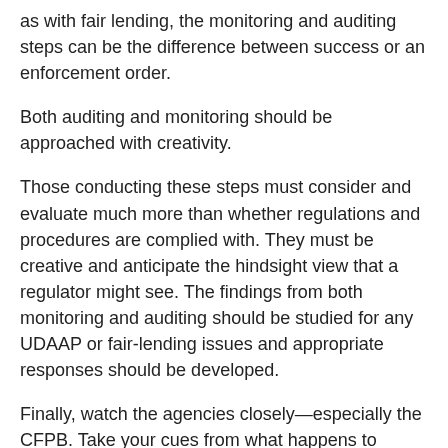as with fair lending, the monitoring and auditing steps can be the difference between success or an enforcement order.
Both auditing and monitoring should be approached with creativity.
Those conducting these steps must consider and evaluate much more than whether regulations and procedures are complied with. They must be creative and anticipate the hindsight view that a regulator might see. The findings from both monitoring and auditing should be studied for any UDAAP or fair-lending issues and appropriate responses should be developed.
Finally, watch the agencies closely—especially the CFPB. Take your cues from what happens to others—including non-banks.
Tagged under Compliance, Risk Management, Blogs, Common...